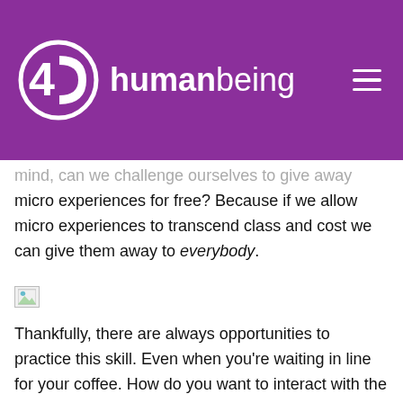4D humanbeing
mind, can we challenge ourselves to give away micro experiences for free? Because if we allow micro experiences to transcend class and cost we can give them away to everybody.
[Figure (photo): Small broken image placeholder icon]
Thankfully, there are always opportunities to practice this skill. Even when you're waiting in line for your coffee. How do you want to interact with the person working on the till? Your interaction might last less than 30 seconds but in those few seconds you are creating an impact